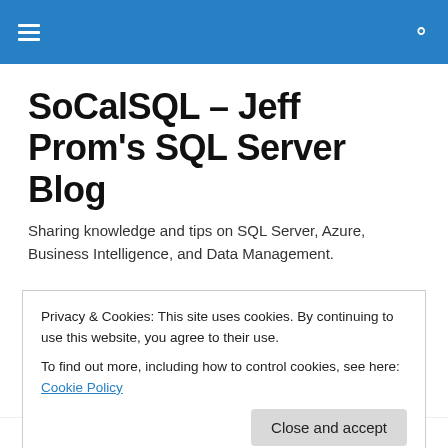Navigation bar with menu and search icons
SoCalSQL – Jeff Prom's SQL Server Blog
Sharing knowledge and tips on SQL Server, Azure, Business Intelligence, and Data Management.
SQL Saturday #238 – Minneapolis, MN
Privacy & Cookies: This site uses cookies. By continuing to use this website, you agree to their use.
To find out more, including how to control cookies, see here: Cookie Policy
Close and accept
#238 | MINNESOTA 2013